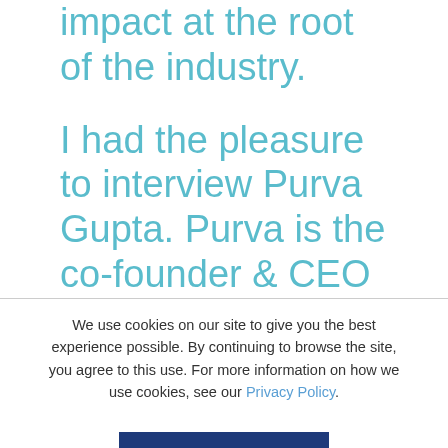impact at the root of the industry.

I had the pleasure to interview Purva Gupta. Purva is the co-founder & CEO of Lily AI, an emotionally intelligent AI platform for commerce. Lily AI claims some of the most iconic
We use cookies on our site to give you the best experience possible. By continuing to browse the site, you agree to this use. For more information on how we use cookies, see our Privacy Policy.
CONTINUE